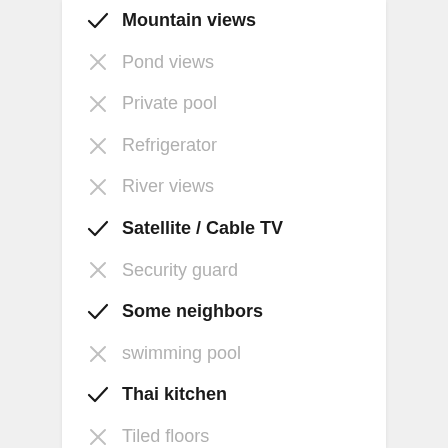✓ Mountain views
✗ Pond views
✗ Private pool
✗ Refrigerator
✗ River views
✓ Satellite / Cable TV
✗ Security guard
✓ Some neighbors
✗ swimming pool
✓ Thai kitchen
✗ Tiled floors